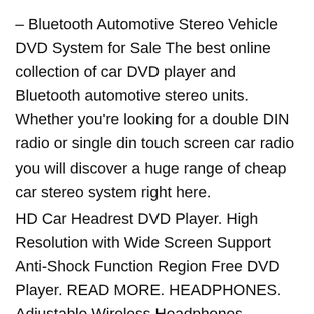– Bluetooth Automotive Stereo Vehicle DVD System for Sale The best online collection of car DVD player and Bluetooth automotive stereo units. Whether you're looking for a double DIN radio or single din touch screen car radio you will discover a huge range of cheap car stereo system right here.
HD Car Headrest DVD Player. High Resolution with Wide Screen Support Anti-Shock Function Region Free DVD Player. READ MORE. HEADPHONES. Adjustable Wireless Headphones. Durable and lightweight fashion design. Wireless or wired for multi-use. Compatible with different devices. READ MORE.
PORTABLE...